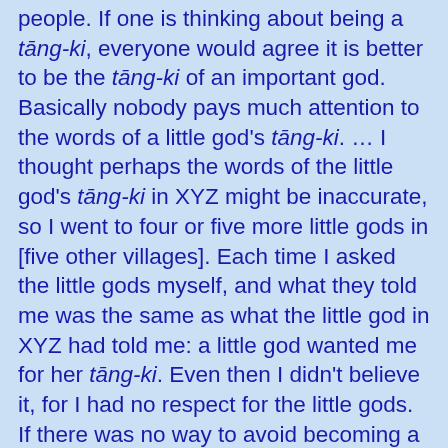people. If one is thinking about being a tāng-ki, everyone would agree it is better to be the tāng-ki of an important god. Basically nobody pays much attention to the words of a little god's tāng-ki. … I thought perhaps the words of the little god's tāng-ki in XYZ might be inaccurate, so I went to four or five more little gods in [five other villages]. Each time I asked the little gods myself, and what they told me was the same as what the little god in XYZ had told me: a little god wanted me for her tāng-ki. Even then I didn't believe it, for I had no respect for the little gods. If there was no way to avoid becoming a tāng-ki, I could at least he the tāng-ki of an important god; I would feel better about that.
Before I left Bǎo'ān, Xiùyè was initiated as a